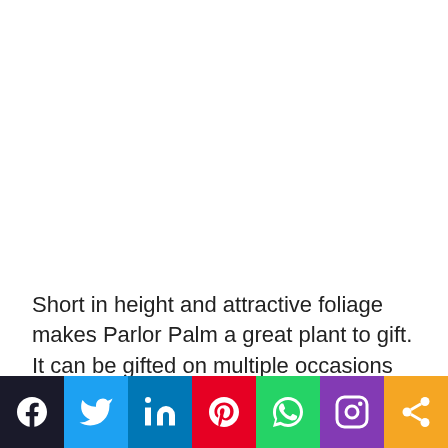Short in height and attractive foliage makes Parlor Palm a great plant to gift. It can be gifted on multiple occasions such as house warming ceremonies, birthdays, or festivals.
[Figure (infographic): Social media sharing bar with icons for Facebook, Twitter, LinkedIn, Pinterest, WhatsApp, Instagram, and a generic share button]